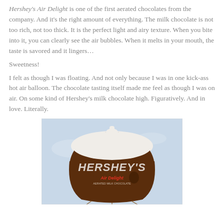Hershey's Air Delight is one of the first aerated chocolates from the company. And it's the right amount of everything. The milk chocolate is not too rich, not too thick. It is the perfect light and airy texture. When you bite into it, you can clearly see the air bubbles. When it melts in your mouth, the taste is savored and it lingers…
Sweetness!
I felt as though I was floating. And not only because I was in one kick-ass hot air balloon. The chocolate tasting itself made me feel as though I was on air. On some kind of Hershey's milk chocolate high. Figuratively. And in love. Literally.
[Figure (photo): A Hershey's Air Delight hot air balloon shaped like a Hershey's Kiss, brown with white top, showing 'HERSHEY'S' and 'Air Delight' text, against a light blue sky.]